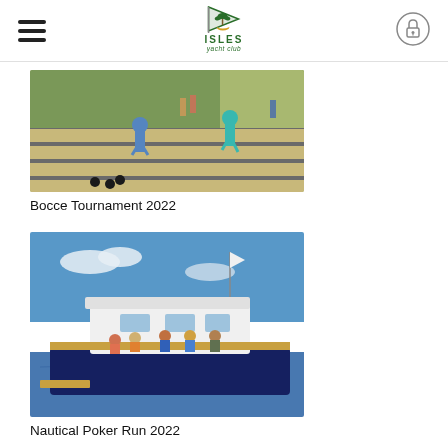ISLES yacht club
[Figure (photo): People playing bocce ball on outdoor bocce courts with trees and spectators in background]
Bocce Tournament 2022
[Figure (photo): A blue and white motorboat on water with several people on board under a blue sky]
Nautical Poker Run 2022